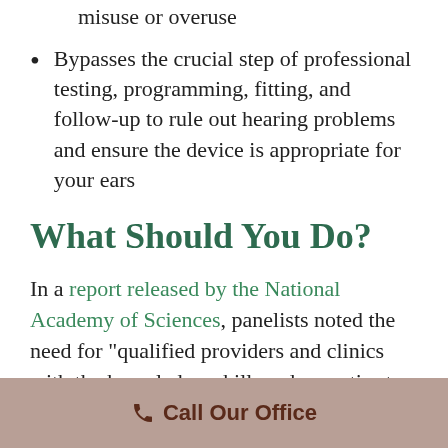misuse or overuse
Bypasses the crucial step of professional testing, programming, fitting, and follow-up to rule out hearing problems and ensure the device is appropriate for your ears
What Should You Do?
In a report released by the National Academy of Sciences, panelists noted the need for “qualified providers and clinics with the knowledge, skill, and expertise to properly evaluate, prescribe, and train people in the use of hearing devices” and
Call Our Office